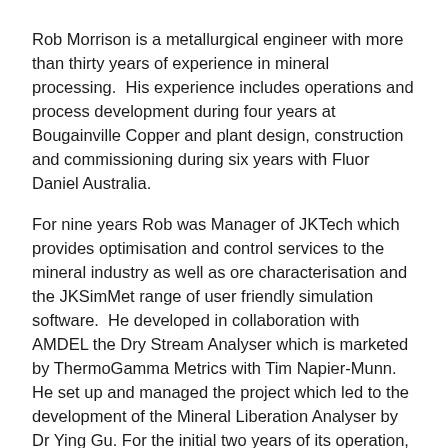Rob Morrison is a metallurgical engineer with more than thirty years of experience in mineral processing. His experience includes operations and process development during four years at Bougainville Copper and plant design, construction and commissioning during six years with Fluor Daniel Australia.
For nine years Rob was Manager of JKTech which provides optimisation and control services to the mineral industry as well as ore characterisation and the JKSimMet range of user friendly simulation software. He developed in collaboration with AMDEL the Dry Stream Analyser which is marketed by ThermoGamma Metrics with Tim Napier-Munn. He set up and managed the project which led to the development of the Mineral Liberation Analyser by Dr Ying Gu. For the initial two years of its operation, Rob was the leader of Program 2 of the Centre for Sustainable Resource Processing. Program 2 focussed on improving the eco-efficiency of existing operations. Rob was the leader of